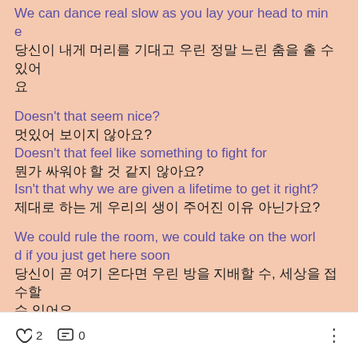We can dance real slow as you lay your head to mine
당신이 내게 머리를 기대고 우린 정말 느린 춤을 출 수 있어요
Doesn't that seem nice?
멋있어 보이지 않아요?
Doesn't that feel like something to fight for
뭔가 싸워야 할 것 같지 않아요?
Isn't that why we are given a lifetime to get it right?
제대로 하는 게 우리의 생이 주어진 이유 아닌가요?
We could rule the room, we could take on the world if you just get here soon
당신이 곧 여기 온다면 우린 방을 지배할 수, 세상을 접수할 수 있어요
♡ 2   💬 0